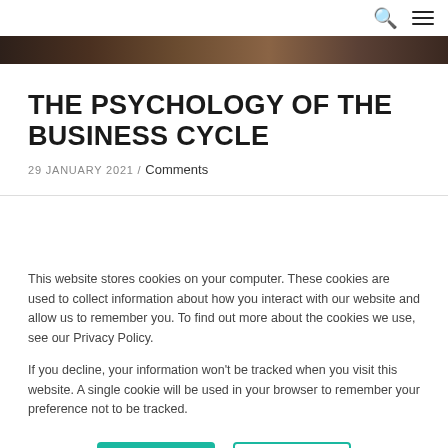🔍 ≡
[Figure (photo): Hero image banner, dark brown/wood tones]
THE PSYCHOLOGY OF THE BUSINESS CYCLE
29 JANUARY 2021 / Comments
This website stores cookies on your computer. These cookies are used to collect information about how you interact with our website and allow us to remember you. To find out more about the cookies we use, see our Privacy Policy.

If you decline, your information won't be tracked when you visit this website. A single cookie will be used in your browser to remember your preference not to be tracked.
Accept | Decline